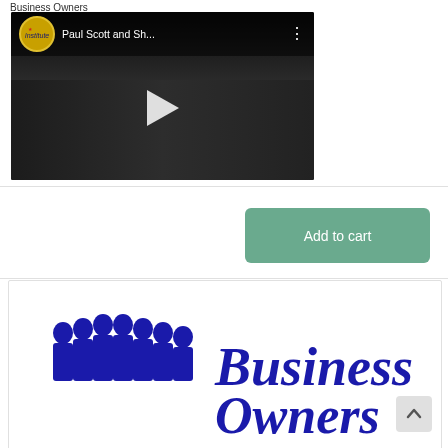Business Owners
[Figure (screenshot): YouTube video thumbnail showing 'Paul Scott and Sh...' with a channel icon labeled 'Institute', a play button in the center, and a three-dot menu icon. Dark background with a scene of people indoors.]
[Figure (other): Add to cart button — rounded green-teal rectangle with white text 'Add to cart']
[Figure (logo): Business Owners logo: blue silhouette group of people on the left, and blue cursive text reading 'Business Owners' on the right, on a white background.]